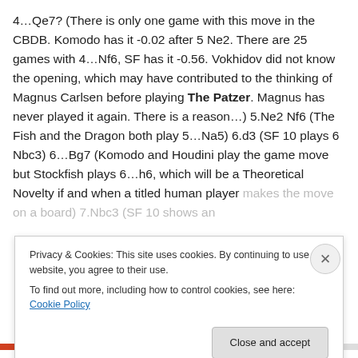4…Qe7? (There is only one game with this move in the CBDB. Komodo has it -0.02 after 5 Ne2. There are 25 games with 4…Nf6, SF has it -0.56. Vokhidov did not know the opening, which may have contributed to the thinking of Magnus Carlsen before playing The Patzer. Magnus has never played it again. There is a reason…) 5.Ne2 Nf6 (The Fish and the Dragon both play 5…Na5) 6.d3 (SF 10 plays 6 Nbc3) 6…Bg7 (Komodo and Houdini play the game move but Stockfish plays 6…h6, which will be a Theoretical Novelty if and when a titled human player makes the move on a board) 7.Nbc3 (SF 10 shows an
Privacy & Cookies: This site uses cookies. By continuing to use this website, you agree to their use.
To find out more, including how to control cookies, see here: Cookie Policy
Close and accept